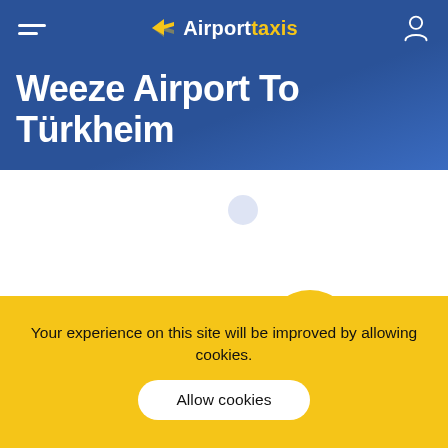Airporttaxis
Weeze Airport To Türkheim
[Figure (illustration): Decorative circles illustration: a small light blue circle, a large dark navy circle, a small yellow circle, and a large yellow circle on a white background]
Your experience on this site will be improved by allowing cookies.
Allow cookies